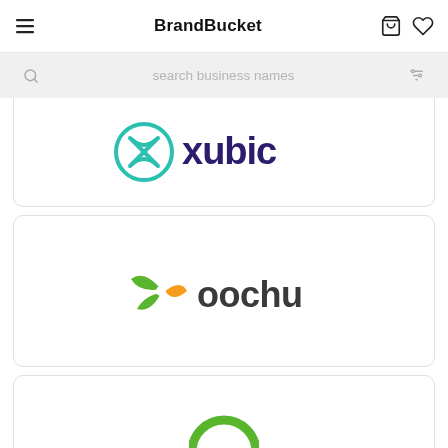BrandBucket
search business names
[Figure (logo): Xubic logo - teal circular icon with X shape and purple bold 'xubic' text]
[Figure (logo): Oochu logo - green and orange leaf/pinwheel icon with dark gray 'oochu' text]
[Figure (logo): Partial green circular logo at bottom of page]